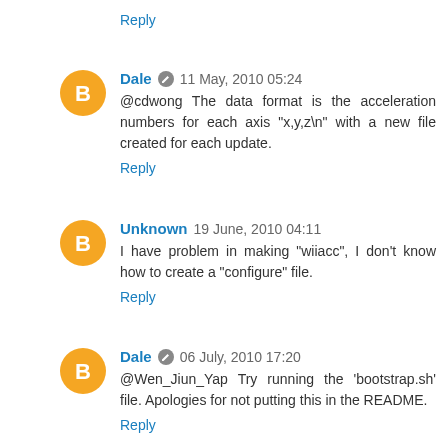Reply
Dale  11 May, 2010 05:24
@cdwong The data format is the acceleration numbers for each axis "x,y,z\n" with a new file created for each update.
Reply
Unknown  19 June, 2010 04:11
I have problem in making "wiiacc", I don't know how to create a "configure" file.
Reply
Dale  06 July, 2010 17:20
@Wen_Jiun_Yap Try running the 'bootstrap.sh' file. Apologies for not putting this in the README.
Reply